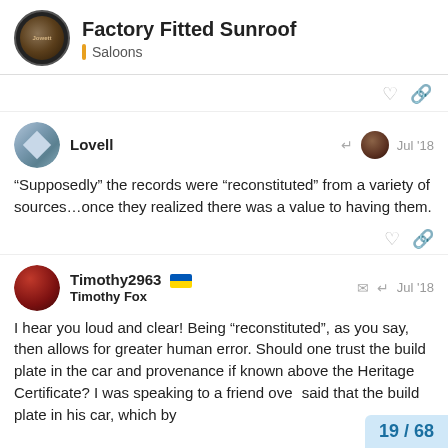Factory Fitted Sunroof — Saloons
“Supposedly” the records were “reconstituted” from a variety of sources…once they realized there was a value to having them.
I hear you loud and clear! Being “reconstituted”, as you say, then allows for greater human error. Should one trust the build plate in the car and provenance if known above the Heritage Certificate? I was speaking to a friend over said that the build plate in his car, which by
19 / 68